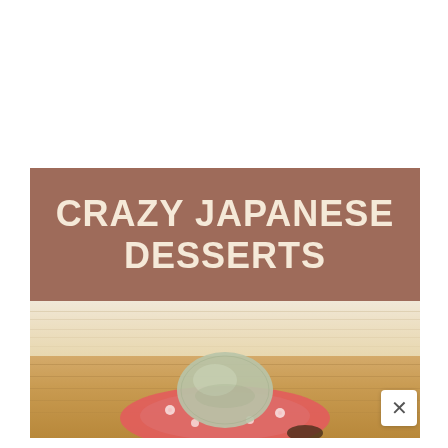[Figure (photo): Book or article cover image for 'Crazy Japanese Desserts'. Top portion has a brown/mauve background with the title text in large cream/beige bold letters. Below is a light wood grain surface transitioning to a darker bamboo surface, with a Japanese dessert (mochi) on a pink floral plate visible at the bottom center. A white close (X) button appears in the bottom-right corner.]